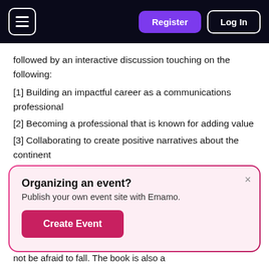Register | Log In
followed by an interactive discussion touching on the following:
[1] Building an impactful career as a communications professional
[2] Becoming a professional that is known for adding value
[3] Collaborating to create positive narratives about the continent
ABOUT THE BOOK
not be afraid to fall. The book is also a
[Figure (screenshot): Popup overlay with gradient border: 'Organizing an event? Publish your own event site with Emamo.' with a 'Create Event' button and a close (×) button]